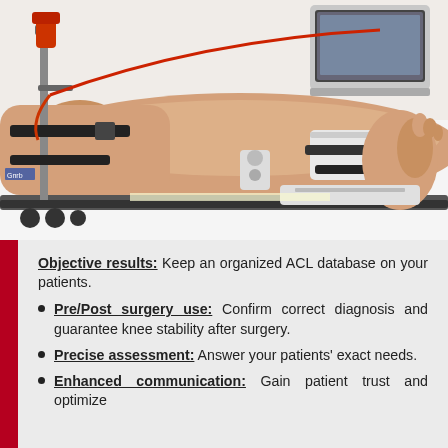[Figure (photo): Medical device photo showing a patient's leg strapped into a knee arthrometer/ACL testing device on a white surface, with a laptop visible in the upper right corner. The device has metal rails, straps, and measurement components.]
Objective results: Keep an organized ACL database on your patients.
Pre/Post surgery use: Confirm correct diagnosis and guarantee knee stability after surgery.
Precise assessment: Answer your patients' exact needs.
Enhanced communication: Gain patient trust and optimize